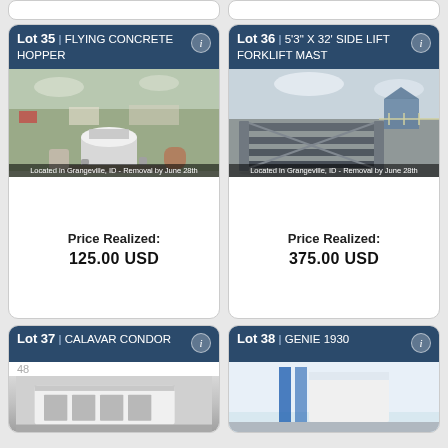[Figure (photo): Partial top edge of two auction lot cards visible at the very top of the page]
Lot 35 | FLYING CONCRETE HOPPER
[Figure (photo): Photo of a flying concrete hopper in a yard setting, Grangeville ID, Removal by June 28th]
Price Realized: 125.00 USD
Lot 36 | 5'3" X 32' SIDE LIFT FORKLIFT MAST
[Figure (photo): Photo of a side lift forklift mast lying on ground outdoors, Grangeville ID, Removal by June 28th]
Price Realized: 375.00 USD
Lot 37 | CALAVAR CONDOR
48
[Figure (photo): Partial photo of Calavar Condor equipment, white colored]
Lot 38 | GENIE 1930
[Figure (photo): Partial photo of Genie 1930 equipment, blue and white]